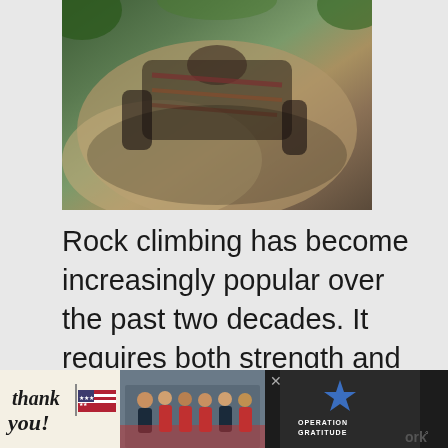[Figure (photo): Person rock climbing on rocky surface outdoors, viewed from above, surrounded by green foliage]
Rock climbing has become increasingly popular over the past two decades. It requires both strength and endurance for rock climbing, especially in your forearms, hand, and fingers. No need to worry though, you don't need to be superman to get started. There are numerous state parks through the country for rock climbing such as:
[Figure (photo): Advertisement banner: 'Thank you!' with American flag graphic and Operation Gratitude logo with firefighters photo]